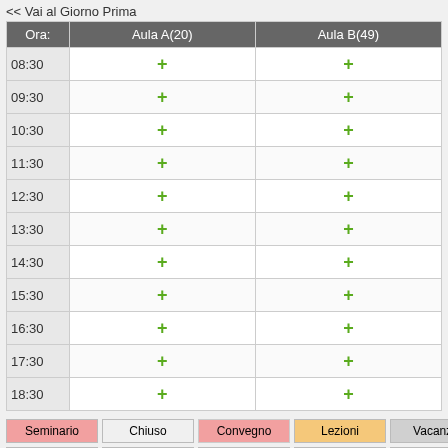<< Vai al Giorno Prima
| Ora: | Aula A(20) | Aula B(49) |
| --- | --- | --- |
| 08:30 | + | + |
| 09:30 | + | + |
| 10:30 | + | + |
| 11:30 | + | + |
| 12:30 | + | + |
| 13:30 | + | + |
| 14:30 | + | + |
| 15:30 | + | + |
| 16:30 | + | + |
| 17:30 | + | + |
| 18:30 | + | + |
Seminario | Chiuso | Convegno | Lezioni | Vacanza | Riunione | Esami | Master | CEL | Esterno
Vedi Giorno: 04 Jul | 05 Jul | 06 Jul | 07 Jul | 08 Jul | 09 Jul | 10 Jul | 1...
Vedi Settimana: 08 Jun | 15 Jun | 22 Jun | 29 Jun | 06 Jul | 13 Jul | 20...
Vedi Mese: May 2020 | Jun 2020 | Jul 2020 | Aug 2020 | Sep 2020 | Oc...